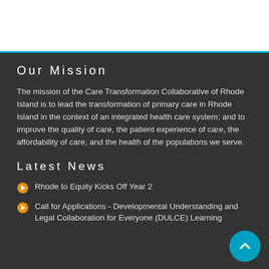Our Mission
The mission of the Care Transformation Collaborative of Rhode Island is to lead the transformation of primary care in Rhode Island in the context of an integrated health care system; and to improve the quality of care, the patient experience of care, the affordability of care, and the health of the populations we serve.
Latest News
Rhode to Equity Kicks Off Year 2
Call for Applications - Developmental Understanding and Legal Collaboration for Everyone (DULCE) Learning